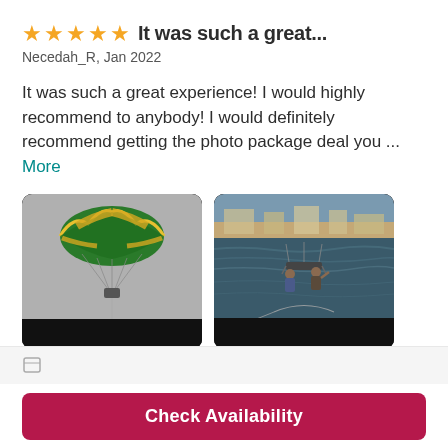It was such a great...
Necedah_R, Jan 2022
It was such a great experience! I would highly recommend to anybody! I would definitely recommend getting the photo package deal you ... More
[Figure (photo): Parasailing photo taken from below showing a colorful green and yellow parachute with two riders hanging below against a gray sky]
[Figure (photo): Two people being towed on a parasailing rig above choppy water with a beach and resort in the background]
Check Availability